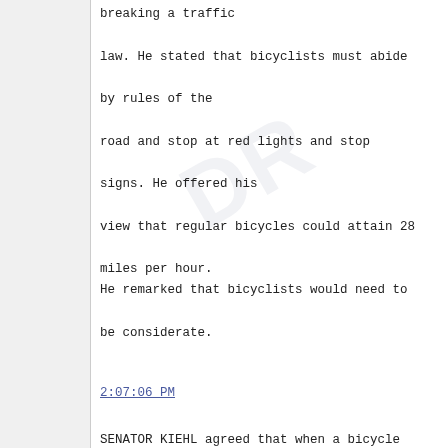breaking a traffic law. He stated that bicyclists must abide by rules of the road and stop at red lights and stop signs. He offered his view that regular bicycles could attain 28 miles per hour.
He remarked that bicyclists would need to be considerate.
2:07:06 PM
SENATOR KIEHL agreed that when a bicycle is operated on a roadway, the bicyclist is subject to the rules of the road, including speed limits. He surmised that e-bikes would be faster than pedal-driven bicycles. He